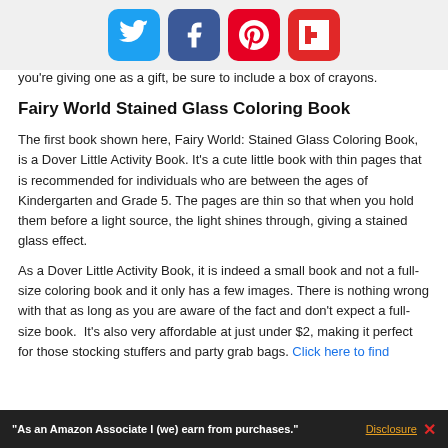[Figure (other): Social media sharing icons: Twitter (blue), Facebook (dark blue), Pinterest (red), Flipboard (red)]
you're giving one as a gift, be sure to include a box of crayons.
Fairy World Stained Glass Coloring Book
The first book shown here, Fairy World: Stained Glass Coloring Book, is a Dover Little Activity Book. It's a cute little book with thin pages that is recommended for individuals who are between the ages of Kindergarten and Grade 5. The pages are thin so that when you hold them before a light source, the light shines through, giving a stained glass effect.
As a Dover Little Activity Book, it is indeed a small book and not a full-size coloring book and it only has a few images. There is nothing wrong with that as long as you are aware of the fact and don't expect a full-size book.  It's also very affordable at just under $2, making it perfect for those stocking stuffers and party grab bags. Click here to find
"As an Amazon Associate I (we) earn from purchases." Disclosure X